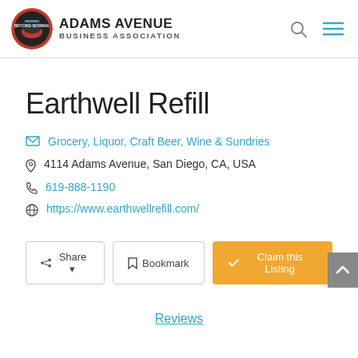ADAMS AVENUE BUSINESS ASSOCIATION
Earthwell Refill
Grocery, Liquor, Craft Beer, Wine & Sundries
4114 Adams Avenue, San Diego, CA, USA
619-888-1190
https://www.earthwellrefill.com/
Share | Bookmark | Claim this Listing
Reviews